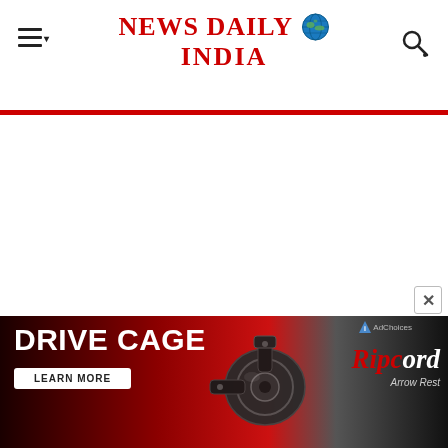NEWS DAILY INDIA
[Figure (screenshot): White blank content area below header]
[Figure (infographic): Advertisement banner for Ripcord Arrow Rest featuring 'DRIVE CAGE LEARN MORE' text with a product image of a bow sight/arrow rest on a dark red gradient background, with Ripcord logo on the right]